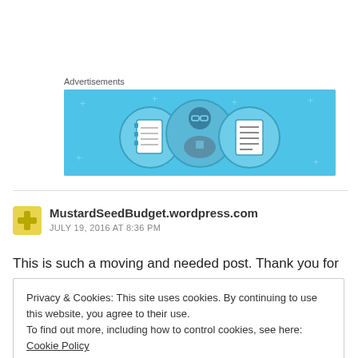Advertisements
[Figure (illustration): WordPress advertisement banner with light blue background showing three circular icons: a notebook, a person with glasses, and a lined document.]
MustardSeedBudget.wordpress.com
JULY 19, 2016 AT 8:36 PM
This is such a moving and needed post. Thank you for
Privacy & Cookies: This site uses cookies. By continuing to use this website, you agree to their use.
To find out more, including how to control cookies, see here: Cookie Policy
Close and accept